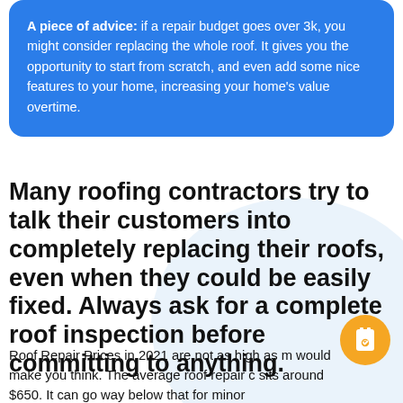A piece of advice: if a repair budget goes over 3k, you might consider replacing the whole roof. It gives you the opportunity to start from scratch, and even add some nice features to your home, increasing your home's value overtime.
Many roofing contractors try to talk their customers into completely replacing their roofs, even when they could be easily fixed. Always ask for a complete roof inspection before committing to anything.
Roof Repair Prices in 2021 are not as high as m... would make you think. The average roof repair c... sits around $650. It can go way below that for minor